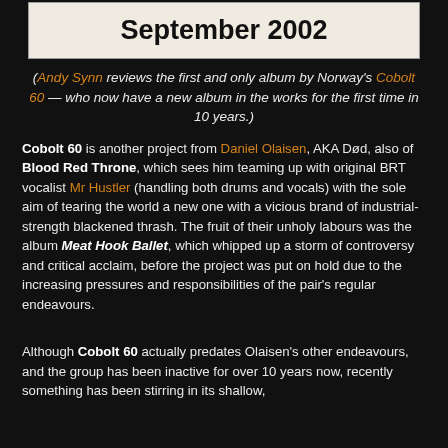[Figure (photo): A sign or placard showing the text 'September 2002' in large bold black text on a light/white background, partially visible at the top of the page.]
(Andy Synn reviews the first and only album by Norway's Cobolt 60 — who now have a new album in the works for the first time in 10 years.)
Cobolt 60 is another project from Daniel Olaisen, AKA Død, also of Blood Red Throne, which sees him teaming up with original BRT vocalist Mr Hustler (handling both drums and vocals) with the sole aim of tearing the world a new one with a vicious brand of industrial-strength blackened thrash. The fruit of their unholy labours was the album Meat Hook Ballet, which whipped up a storm of controversy and critical acclaim, before the project was put on hold due to the increasing pressures and responsibilities of the pair's regular endeavours.
Although Cobolt 60 actually predates Olaisen's other endeavours, and the group has been inactive for over 10 years now, recently something has been stirring in its shallow,